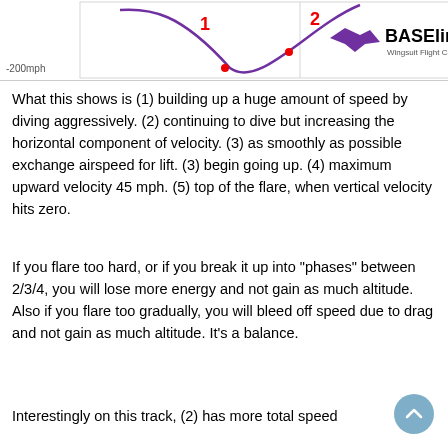[Figure (other): Top strip showing a wingsuit flight computer chart with a purple curved line, red numbered points '1' and '2', '-200mph' label on the left, and the BASEline Wingsuit Flight Computer logo on the right.]
What this shows is (1) building up a huge amount of speed by diving aggressively. (2) continuing to dive but increasing the horizontal component of velocity. (3) as smoothly as possible exchange airspeed for lift. (3) begin going up. (4) maximum upward velocity 45 mph. (5) top of the flare, when vertical velocity hits zero.
If you flare too hard, or if you break it up into "phases" between 2/3/4, you will lose more energy and not gain as much altitude. Also if you flare too gradually, you will bleed off speed due to drag and not gain as much altitude. It's a balance.
Interestingly on this track, (2) has more total speed than (1) do, it's just that the horizontal component of it...